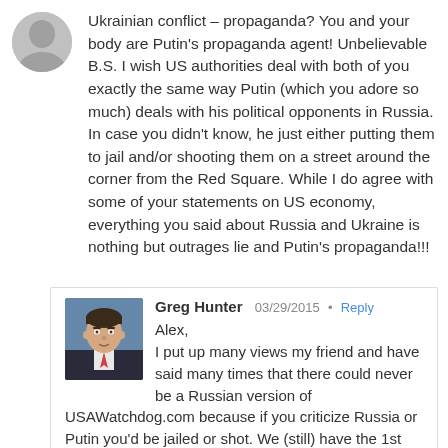Ukrainian conflict – propaganda? You and your body are Putin's propaganda agent! Unbelievable B.S. I wish US authorities deal with both of you exactly the same way Putin (which you adore so much) deals with his political opponents in Russia. In case you didn't know, he just either putting them to jail and/or shooting them on a street around the corner from the Red Square. While I do agree with some of your statements on US economy, everything you said about Russia and Ukraine is nothing but outrages lie and Putin's propaganda!!!
Greg Hunter   03/29/2015 • Reply
Alex,
I put up many views my friend and have said many times that there could never be a Russian version of USAWatchdog.com because if you criticize Russia or Putin you'd be jailed or shot. We (still) have the 1st Amendment here–embrace it. Thank you for your comment.
Greg